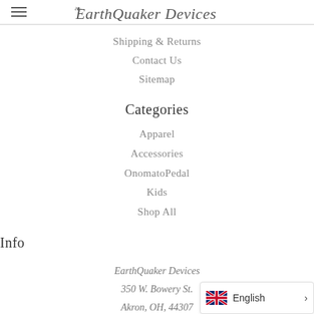EarthQuaker Devices
Shipping & Returns
Contact Us
Sitemap
Categories
Apparel
Accessories
OnomatoPedal
Kids
Shop All
Info
EarthQuaker Devices
350 W. Bowery St.
Akron, OH, 44307
Call us at +1-330-252-9220